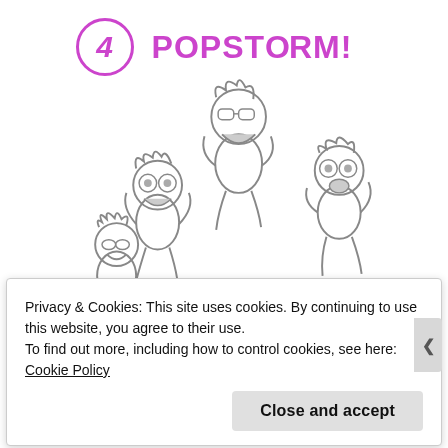[Figure (illustration): Cartoon-style pencil sketch illustration of four playful child characters jumping in an arc formation, with the POPSTORM! logo and number 4 at the top.]
Privacy & Cookies: This site uses cookies. By continuing to use this website, you agree to their use.
To find out more, including how to control cookies, see here: Cookie Policy
Close and accept